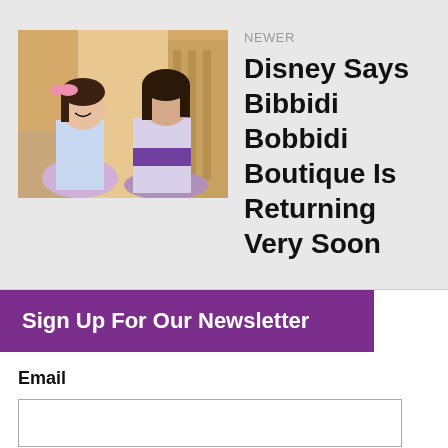[Figure (photo): A young girl dressed as a princess smiling, with a woman in a purple outfit helping her, inside what appears to be a Disney boutique.]
NEWER
Disney Says Bibbidi Bobbidi Boutique Is Returning Very Soon
Sign Up For Our Newsletter
Email
SUBMIT